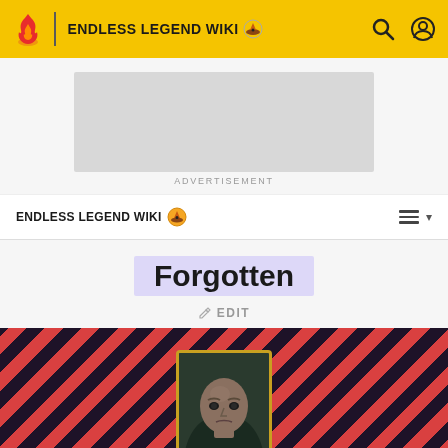ENDLESS LEGEND WIKI
[Figure (screenshot): Advertisement placeholder box (gray rectangle)]
ADVERTISEMENT
ENDLESS LEGEND WIKI
Forgotten
EDIT
[Figure (illustration): Hero image with diagonal red and dark stripe pattern background and a bald character portrait in a decorated frame]